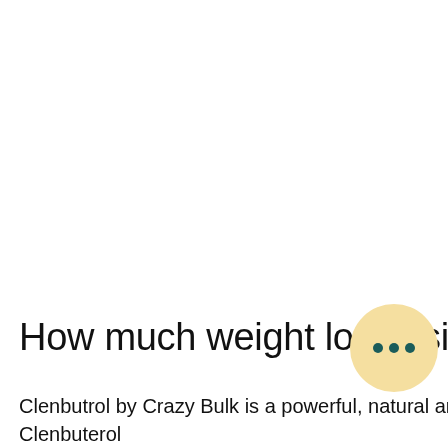How much weight loss using clenbuterol
Clenbutrol by Crazy Bulk is a powerful, natural and safe alternative to Clenbuterol